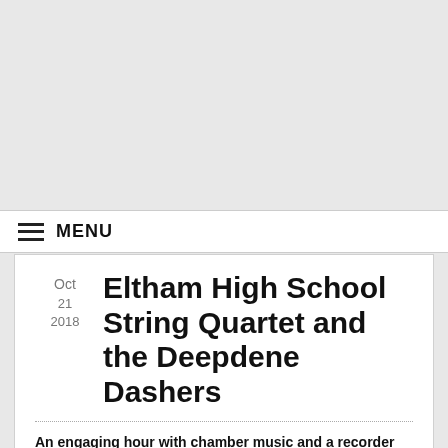MENU
Eltham High School String Quartet and the Deepdene Dashers
Oct 21 2018
An engaging hour with chamber music and a recorder ensemble (by Graham Parslow)
Eltham High School is renowned for its music education and contributed four of its most promising string players to create a classical chamber orchestra group of two violins, a viola and cello. The music began with a lively Latin melody, La Marinosa composed